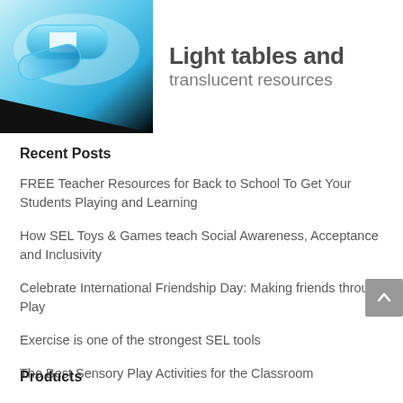[Figure (photo): Banner image showing translucent blue capsule/pill shapes on a light table background with text 'Light tables and translucent resources']
Recent Posts
FREE Teacher Resources for Back to School To Get Your Students Playing and Learning
How SEL Toys & Games teach Social Awareness, Acceptance and Inclusivity
Celebrate International Friendship Day: Making friends through Play
Exercise is one of the strongest SEL tools
The Best Sensory Play Activities for the Classroom
Products